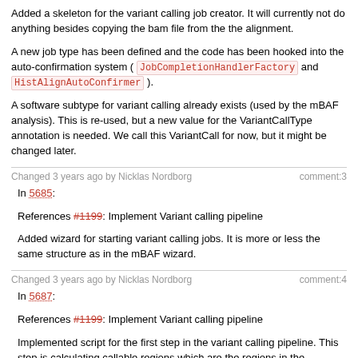Added a skeleton for the variant calling job creator. It will currently not do anything besides copying the bam file from the the alignment.
A new job type has been defined and the code has been hooked into the auto-confirmation system ( JobCompletionHandlerFactory and HistAlignAutoConfirmer ).
A software subtype for variant calling already exists (used by the mBAF analysis). This is re-used, but a new value for the VariantCallType annotation is needed. We call this VariantCall for now, but it might be changed later.
Changed 3 years ago by Nicklas Nordborg   comment:3
In 5685:
References #1199: Implement Variant calling pipeline
Added wizard for starting variant calling jobs. It is more or less the same structure as in the mBAF wizard.
Changed 3 years ago by Nicklas Nordborg   comment:4
In 5687:
References #1199: Implement Variant calling pipeline
Implemented script for the first step in the variant calling pipeline. This step is calculating callable regions which are the regions in the alignment